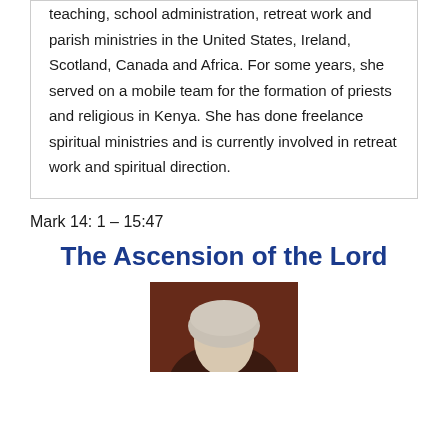teaching, school administration, retreat work and parish ministries in the United States, Ireland, Scotland, Canada and Africa. For some years, she served on a mobile team for the formation of priests and religious in Kenya. She has done freelance spiritual ministries and is currently involved in retreat work and spiritual direction.
Mark 14: 1 – 15:47
The Ascension of the Lord
[Figure (photo): Portrait photo of a person with white/gray hair against a dark reddish-brown background, partially visible at bottom of page]